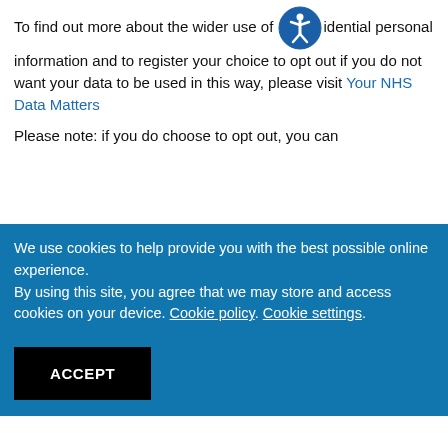To find out more about the wider use of confidential personal information and to register your choice to opt out if you do not want your data to be used in this way, please visit Your NHS Data Matters
Please note: if you do choose to opt out, you can
We use cookies to help provide you with the best possible online experience.
By using this site, you agree that we may store and access cookies on your device. Cookie policy. Cookie settings.
ACCEPT